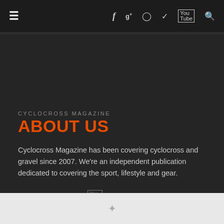☰  f  g+  ⦿  🐦  ▶  🔍
CYCLOCROSS MAGAZINE
ABOUT US
Cyclocross Magazine has been covering cyclocross and gravel since 2007. We're an independent publication dedicated to covering the sport, lifestyle and gear.
f  g+  ⦿  🐦  ▶